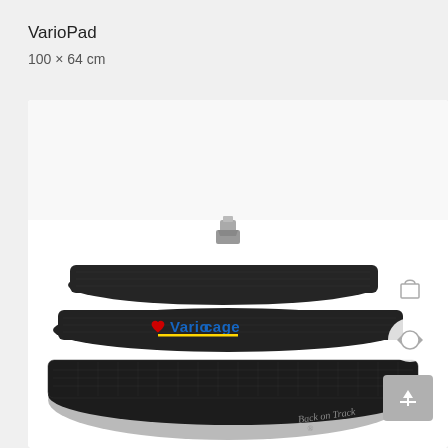VarioPad
100 × 64 cm
[Figure (photo): A black quilted/padded blanket or pad (VarioPad) folded and rolled up, showing the Variocase logo in blue and yellow lettering with a red heart icon, and 'Back on Track' text visible at the bottom right. A metal clip is visible at the top. Three circular icon buttons (shopping bag, refresh/rotate, and share/upload) are visible on the right side of the image.]